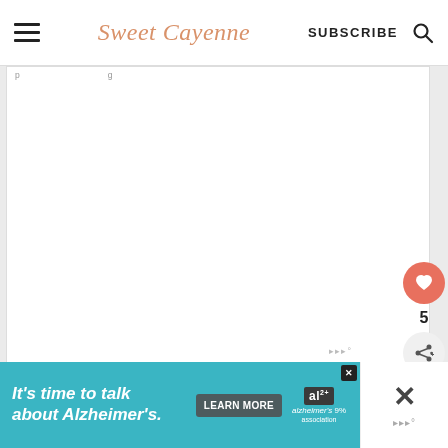Sweet Cayenne | SUBSCRIBE
[Figure (screenshot): White article card area with partial truncated navigation text visible at top]
5
[Figure (infographic): Advertisement banner: It's time to talk about Alzheimer's. LEARN MORE button. Alzheimer's Association logo. Close button. Right side shows large X close button.]